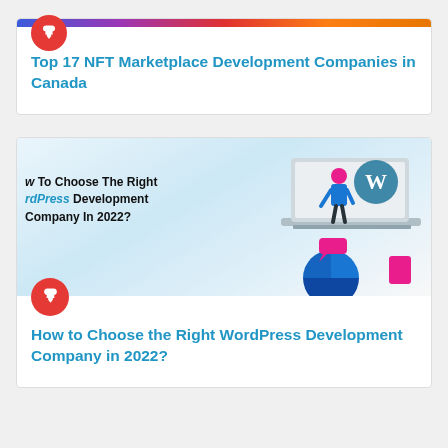[Figure (screenshot): Card for 'Top 17 NFT Marketplace Development Companies in Canada' with a red pin icon and colorful header image partially visible at top]
Top 17 NFT Marketplace Development Companies in Canada
[Figure (illustration): Card showing WordPress development illustration with laptop, WordPress logo, and a person working; overlay text reads 'How To Choose The Right WordPress Development Company In 2022?']
How to Choose the Right WordPress Development Company in 2022?